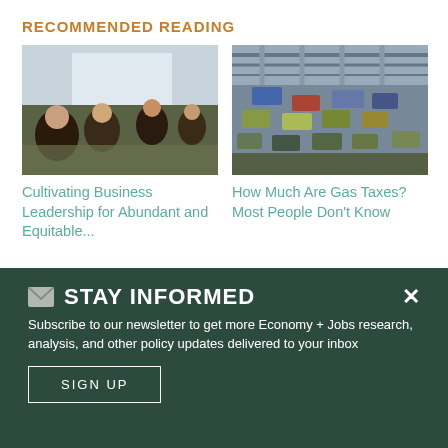RECOMMENDED READING
[Figure (photo): People seated at a conference table in a meeting room, facing a presentation screen.]
[Figure (photo): Heavy traffic on a highway viewed from above, with a metal bridge structure visible.]
Cultivating Business Leadership for Abundant and Equitable...
How Much Are Gas Taxes? Most People Don't Know
✉ STAY INFORMED
Subscribe to our newsletter to get more Economy + Jobs research, analysis, and other policy updates delivered to your inbox
SIGN UP